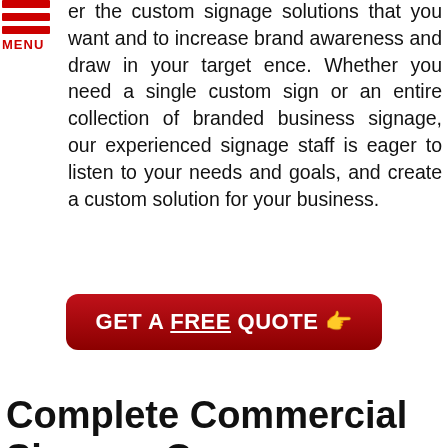[Figure (logo): Red hamburger menu icon with three horizontal red bars and 'MENU' text in red below]
er the custom signage solutions that you want and to increase brand awareness and draw in your target ence. Whether you need a single custom sign or an entire collection of branded business signage, our experienced signage staff is eager to listen to your needs and goals, and create a custom solution for your business.
[Figure (other): Red rounded rectangle button with white bold text: GET A FREE QUOTE with a pointing hand cursor icon]
Complete Commercial Signage Company
Few sign making companies are the complete package, supporting you throughout every stage of your signage project. Sign Connection is a one-stop sign shop, offering a comprehensive range of signage services, effectively eliminating the need to go from one sign maker to the next for design, fabrication, and installation. Everything you need is right here, in one place, so you get to
[Figure (other): Two circular red contact icons at bottom right: phone icon and email/envelope icon]